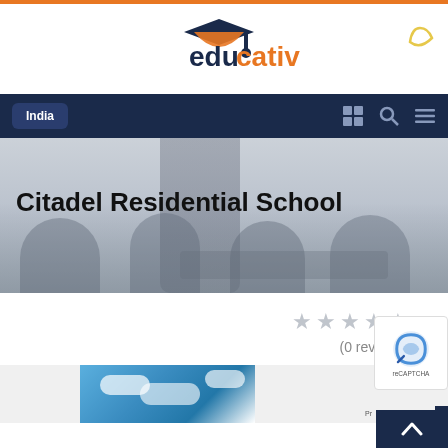[Figure (logo): Educativ logo with graduation cap icon, dark navy and orange colors, text reads 'educativ']
India
[Figure (photo): Hero banner with students sitting outdoors on grass with laptops, faded/overlay effect]
Citadel Residential School
(0 reviews)
[Figure (photo): Bottom photo strip showing blue sky with clouds]